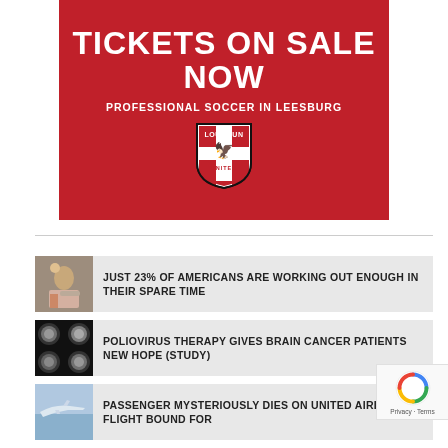[Figure (illustration): Red advertisement banner for Loudoun United soccer team. White bold text reads 'TICKETS ON SALE NOW' and 'PROFESSIONAL SOCCER IN LEESBURG' with the Loudoun United shield logo below.]
JUST 23% OF AMERICANS ARE WORKING OUT ENOUGH IN THEIR SPARE TIME
POLIOVIRUS THERAPY GIVES BRAIN CANCER PATIENTS NEW HOPE (STUDY)
PASSENGER MYSTERIOUSLY DIES ON UNITED AIRLINES FLIGHT BOUND FOR